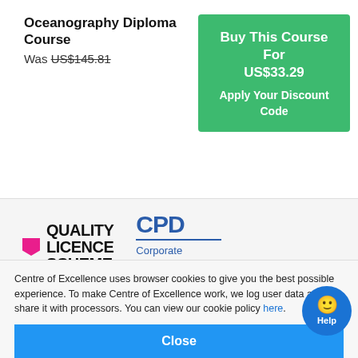Oceanography Diploma Course
Was US$145.81
Buy This Course For US$33.29 Apply Your Discount Code
[Figure (logo): Quality Licence Scheme logo with pink bookmark icon and bold text]
[Figure (logo): CPD Corporate Member logo - The CPD Certification Service]
The Oceanography Diploma Course will take you up to 150 hours to complete, working from home. There is no time limit for completing this course, it can be studied in your own time at your own pace.
Centre of Excellence uses browser cookies to give you the best possible experience. To make Centre of Excellence work, we log user data and share it with processors. You can view our cookie policy here.